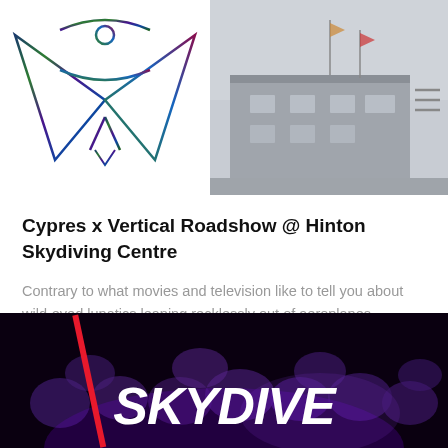[Figure (logo): Vertical skydiving logo — stylized human figure in freefall with wing-like triangle shapes, holographic/iridescent coloring on black line art]
[Figure (photo): Exterior photo of a building — appears to be a skydiving centre facility, muted grey/foggy tones, flags visible on roof]
Cypres x Vertical Roadshow @ Hinton Skydiving Centre
Contrary to what movies and television like to tell you about wild-eyed lunatics leaping recklessly out of aeroplanes, skydiving has a lot of rules. British
[Figure (photo): Dark banner image with crowd in background, purple lighting, large bold white italic text reading SKYDIVE, red diagonal slash/stripe on left side]